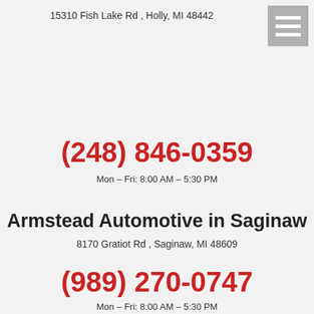15310 Fish Lake Rd , Holly, MI 48442
(248) 846-0359
Mon - Fri: 8:00 AM – 5:30 PM
Armstead Automotive in Saginaw
8170 Gratiot Rd , Saginaw, MI 48609
(989) 270-0747
Mon - Fri: 8:00 AM – 5:30 PM